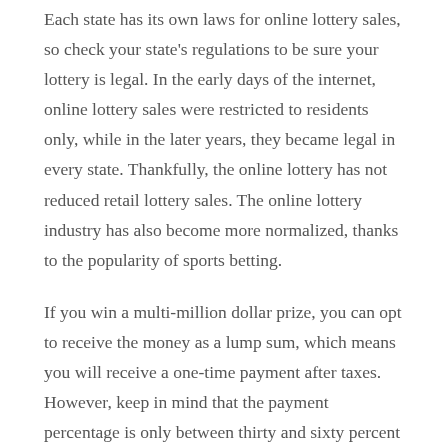Each state has its own laws for online lottery sales, so check your state's regulations to be sure your lottery is legal. In the early days of the internet, online lottery sales were restricted to residents only, while in the later years, they became legal in every state. Thankfully, the online lottery has not reduced retail lottery sales. The online lottery industry has also become more normalized, thanks to the popularity of sports betting.
If you win a multi-million dollar prize, you can opt to receive the money as a lump sum, which means you will receive a one-time payment after taxes. However, keep in mind that the payment percentage is only between thirty and sixty percent of the advertised jackpot, depending on the lottery and state regulations. The good news is that top online lottery providers don't take any commissions on jackpot winners. This means you don't have to worry about paying extra taxes on your winnings – and it is definitely a way to win more money!
Another benefit of playing the online lottery is that it is easy and